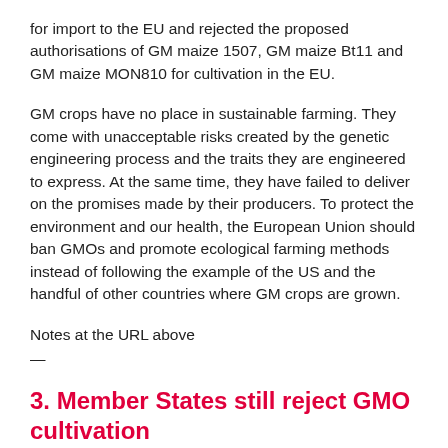for import to the EU and rejected the proposed authorisations of GM maize 1507, GM maize Bt11 and GM maize MON810 for cultivation in the EU.
GM crops have no place in sustainable farming. They come with unacceptable risks created by the genetic engineering process and the traits they are engineered to express. At the same time, they have failed to deliver on the promises made by their producers. To protect the environment and our health, the European Union should ban GMOs and promote ecological farming methods instead of following the example of the US and the handful of other countries where GM crops are grown.
Notes at the URL above
—
3. Member States still reject GMO cultivation